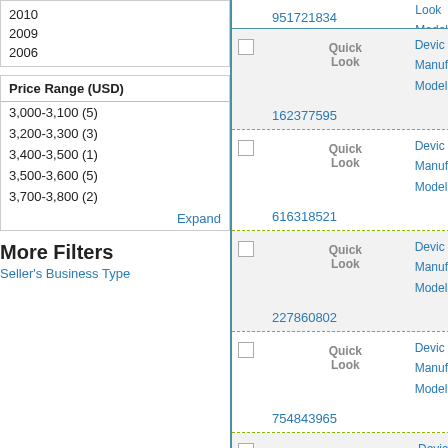2010
2009
2006
| Price Range (USD) |
| --- |
| 3,000-3,100 (5) |
| 3,200-3,300 (3) |
| 3,400-3,500 (1) |
| 3,500-3,600 (5) |
| 3,700-3,800 (2) |
| Expand |
More Filters
Seller's Business Type
951721834
Device
Manuf
Model
162377595
Device
Manuf
Model
616318521
Device
Manuf
Model
227860802
Device
Manuf
Model
754843965
Device
Manuf
Model